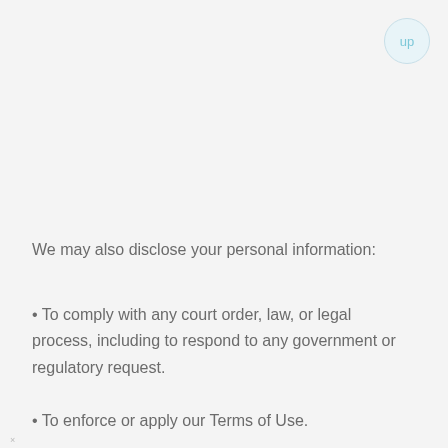up
We may also disclose your personal information:
• To comply with any court order, law, or legal process, including to respond to any government or regulatory request.
• To enforce or apply our Terms of Use.
• If we believe disclosure is necessary or appropriate to